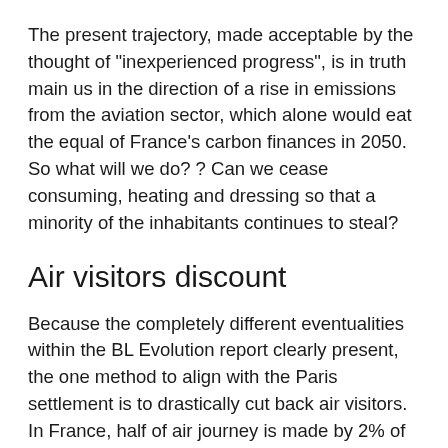The present trajectory, made acceptable by the thought of "inexperienced progress", is in truth main us in the direction of a rise in emissions from the aviation sector, which alone would eat the equal of France's carbon finances in 2050. So what will we do? ? Can we cease consuming, heating and dressing so that a minority of the inhabitants continues to steal?
Air visitors discount
Because the completely different eventualities within the BL Evolution report clearly present, the one method to align with the Paris settlement is to drastically cut back air visitors. In France, half of air journey is made by 2% of individuals. The measures vital to scale back visitors will subsequently solely concern individuals who have the means and the behavior of flying. As a result of if air